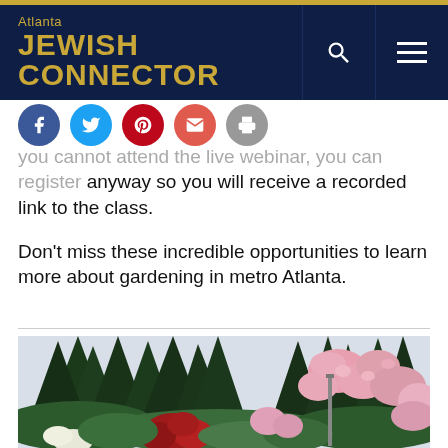Atlanta Jewish Connector
all information about how to join the webinar. If you cannot attend the live webinar, you can register anyway so you will receive a recorded link to the class.
Don't miss these incredible opportunities to learn more about gardening in metro Atlanta.
[Figure (photo): Garden photo showing colorful flowering roses (pink, red, white) against tall evergreen trees in the background]